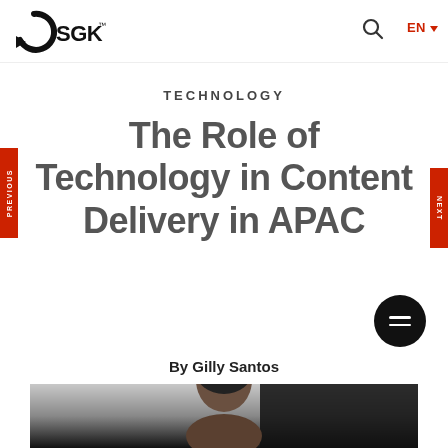[Figure (logo): SGK logo with circular arrow graphic and SGK text in header]
TECHNOLOGY
The Role of Technology in Content Delivery in APAC
By Gilly Santos
[Figure (photo): Photo of a man, partially visible at bottom of page]